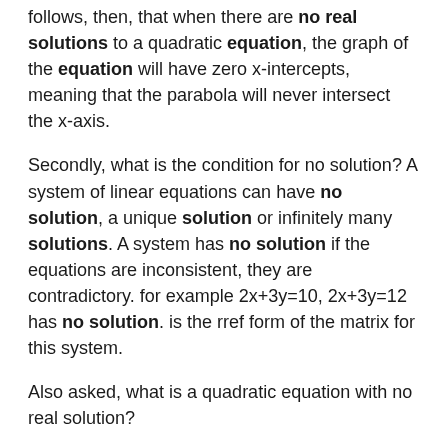follows, then, that when there are no real solutions to a quadratic equation, the graph of the equation will have zero x-intercepts, meaning that the parabola will never intersect the x-axis.
Secondly, what is the condition for no solution? A system of linear equations can have no solution, a unique solution or infinitely many solutions. A system has no solution if the equations are inconsistent, they are contradictory. for example 2x+3y=10, 2x+3y=12 has no solution. is the rref form of the matrix for this system.
Also asked, what is a quadratic equation with no real solution?
An example of a quadratic function with no real roots is given by f(x) = x² − 3x + 4. Notice that the discriminant of